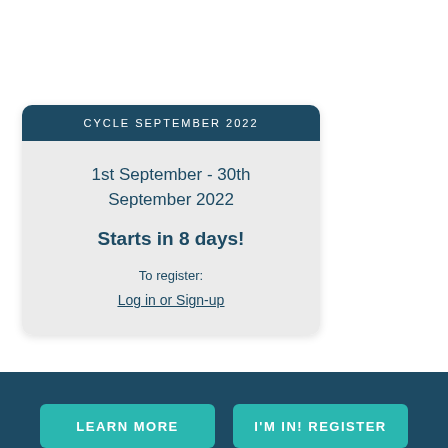CYCLE SEPTEMBER 2022
1st September - 30th September 2022
Starts in 8 days!
To register:
Log in or Sign-up
LEARN MORE
I'M IN! REGISTER